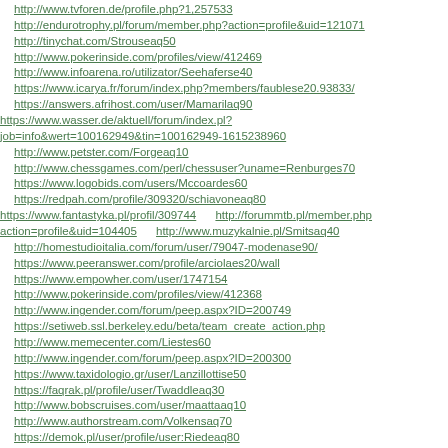http://www.tvforen.de/profile.php?1,257533
http://endurotrophy.pl/forum/member.php?action=profile&uid=121071
http://tinychat.com/Strouseaq50
http://www.pokerinside.com/profiles/view/412469
http://www.infoarena.ro/utilizator/Seehaferse40
https://www.icarya.fr/forum/index.php?members/faublese20.93833/
https://answers.afrihost.com/user/Mamarilaq90
https://www.wasser.de/aktuell/forum/index.pl?job=info&wert=100162949&tin=100162949-1615238960
http://www.petster.com/Forgeaq10
http://www.chessgames.com/perl/chessuser?uname=Renburges70
https://www.logobids.com/users/Mccoardes60
https://redpah.com/profile/309320/schiavoneaq80
https://www.fantastyka.pl/profil/309744   http://forummtb.pl/member.php?action=profile&uid=104405   http://www.muzykalnie.pl/Smitsaq40
http://homestudioitalia.com/forum/user/79047-modenase90/
https://www.peeranswer.com/profile/arciolaes20/wall
https://www.empowher.com/user/1747154
http://www.pokerinside.com/profiles/view/412368
http://www.ingender.com/forum/peep.aspx?ID=200749
https://setiweb.ssl.berkeley.edu/beta/team_create_action.php
http://www.memecenter.com/Liestes60
http://www.ingender.com/forum/peep.aspx?ID=200300
https://www.taxidologio.gr/user/Lanzillottise50
https://faqrak.pl/profile/user/Twaddleaq30
http://www.bobscruises.com/user/maattaaq10
http://www.authorstream.com/Volkensaq70
https://demok.pl/user/profile/user:Riedeaq80
https://www.corazondemelon.es/s1/profile/Rodrickaq50
https://linkinads.com/user/Hindsonse70   https://forum.xevento.net/user